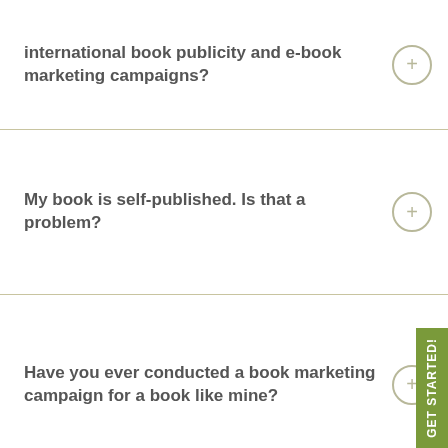international book publicity and e-book marketing campaigns?
My book is self-published. Is that a problem?
Have you ever conducted a book marketing campaign for a book like mine?
How much experience does Smith Publicity have promoting books and